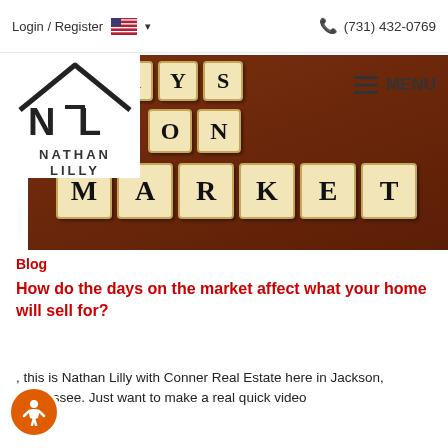Login / Register  🇺🇸 ▾  (731) 432-0769
[Figure (logo): Nathan Lilly real estate logo with house outline and NL letters]
≡ MENU
[Figure (photo): Scrabble tiles spelling DAYS ON MARKET on a dark wood background]
Blog
How do the days on the market affect what your home will sell for?
, this is Nathan Lilly with Conner Real Estate here in Jackson, Tennessee. Just want to make a real quick video